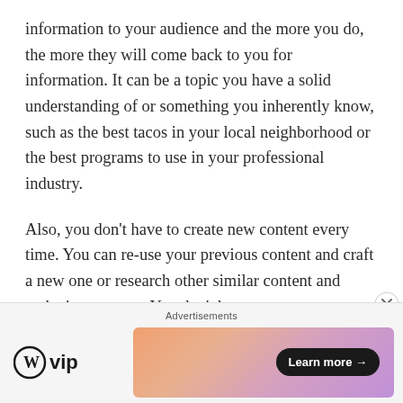information to your audience and the more you do, the more they will come back to you for information. It can be a topic you have a solid understanding of or something you inherently know, such as the best tacos in your local neighborhood or the best programs to use in your professional industry.
Also, you don't have to create new content every time. You can re-use your previous content and craft a new one or research other similar content and make it your own. You don't have to create something new and fresh every time, it is okay to re-post old content in new ways. This helps reduce feeling burnt out too
[Figure (other): Advertisement banner with WordPress VIP logo on the left and a gradient banner with 'Learn more' button on the right. Labeled 'Advertisements' at top.]